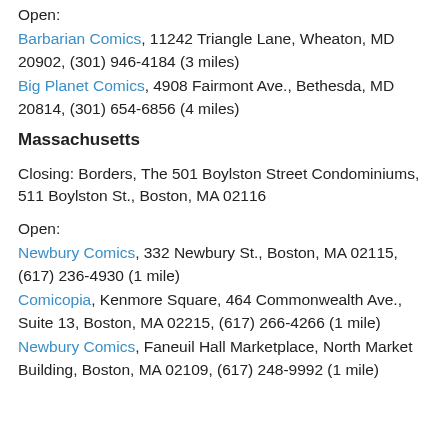Open:
Barbarian Comics, 11242 Triangle Lane, Wheaton, MD 20902, (301) 946-4184 (3 miles)
Big Planet Comics, 4908 Fairmont Ave., Bethesda, MD 20814, (301) 654-6856 (4 miles)
Massachusetts
Closing: Borders, The 501 Boylston Street Condominiums, 511 Boylston St., Boston, MA 02116
Open:
Newbury Comics, 332 Newbury St., Boston, MA 02115, (617) 236-4930 (1 mile)
Comicopia, Kenmore Square, 464 Commonwealth Ave., Suite 13, Boston, MA 02215, (617) 266-4266 (1 mile)
Newbury Comics, Faneuil Hall Marketplace, North Market Building, Boston, MA 02109, (617) 248-9992 (1 mile)